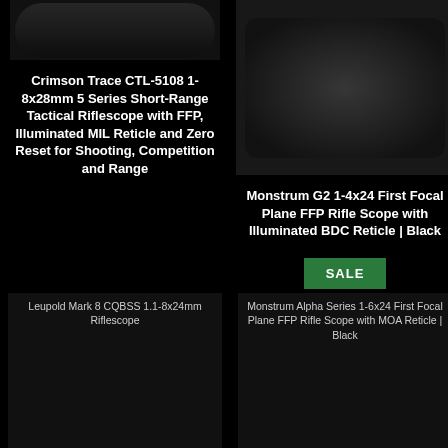[Figure (photo): Partial view of a rifle scope (Crimson Trace CTL-5108) on black background, top portion cropped]
[Figure (photo): Monstrum G2 1-4x24 rifle scope with flip-up lens caps on black background]
Crimson Trace CTL-5108 1-8x28mm 5 Series Short-Range Tactical Riflescope with FFP, Illuminated MIL Reticle and Zero Reset for Shooting, Competition and Range
Monstrum G2 1-4x24 First Focal Plane FFP Rifle Scope with Illuminated BDC Reticle | Black
SALE
[Figure (photo): Leupold Mark 8 CQBSS 1.1-8x24mm Riflescope placeholder image with alt text]
[Figure (photo): Monstrum Alpha Series 1-6x24 First Focal Plane FFP Rifle Scope with MOA Reticle | Black placeholder image with alt text]